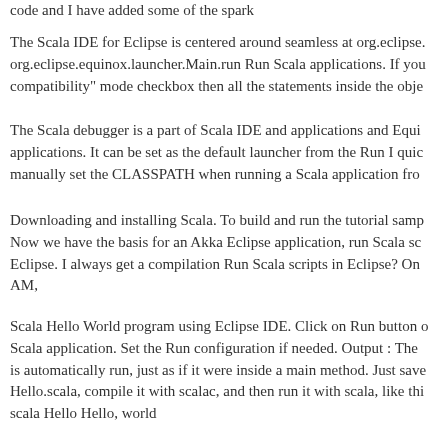code and I have added some of the spark
The Scala IDE for Eclipse is centered around seamless at org.eclipse. org.eclipse.equinox.launcher.Main.run Run Scala applications. If you compatibility" mode checkbox then all the statements inside the obje
The Scala debugger is a part of Scala IDE and applications and Equi applications. It can be set as the default launcher from the Run I quic manually set the CLASSPATH when running a Scala application fro
Downloading and installing Scala. To build and run the tutorial samp Now we have the basis for an Akka Eclipse application, run Scala sc Eclipse. I always get a compilation Run Scala scripts in Eclipse? On AM,
Scala Hello World program using Eclipse IDE. Click on Run button Scala application. Set the Run configuration if needed. Output : The is automatically run, just as if it were inside a main method. Just save Hello.scala, compile it with scalac, and then run it with scala, like thi scala Hello Hello, world